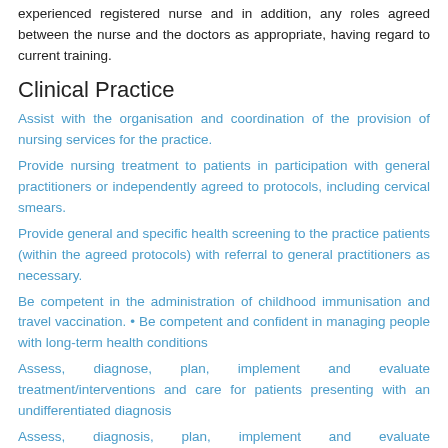experienced registered nurse and in addition, any roles agreed between the nurse and the doctors as appropriate, having regard to current training.
Clinical Practice
Assist with the organisation and coordination of the provision of nursing services for the practice.
Provide nursing treatment to patients in participation with general practitioners or independently agreed to protocols, including cervical smears.
Provide general and specific health screening to the practice patients (within the agreed protocols) with referral to general practitioners as necessary.
Be competent in the administration of childhood immunisation and travel vaccination. • Be competent and confident in managing people with long-term health conditions
Assess, diagnose, plan, implement and evaluate treatment/interventions and care for patients presenting with an undifferentiated diagnosis
Assess, diagnosis, plan, implement and evaluate interventions/treatments for patients with complex needs